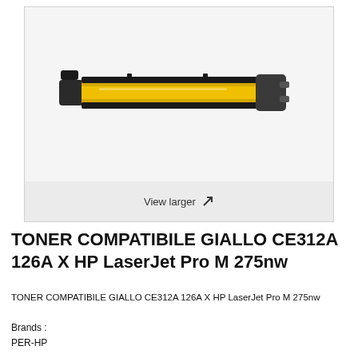[Figure (photo): Yellow HP compatible toner cartridge (CE312A 126A) shown horizontally on white/light grey background]
View larger ↗
TONER COMPATIBILE GIALLO CE312A 126A X HP LaserJet Pro M 275nw
TONER COMPATIBILE GIALLO CE312A 126A X HP LaserJet Pro M 275nw
Brands :
PER-HP